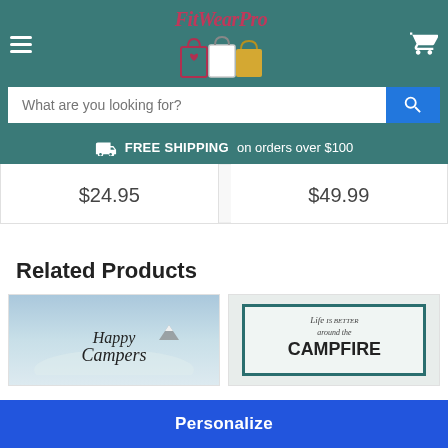FitWearPro
What are you looking for?
FREE SHIPPING on orders over $100
$24.95
$49.99
Related Products
[Figure (photo): Happy Campers banner with blue sky background]
[Figure (photo): Life is better around the CAMPFIRE sign with teal border]
Personalize